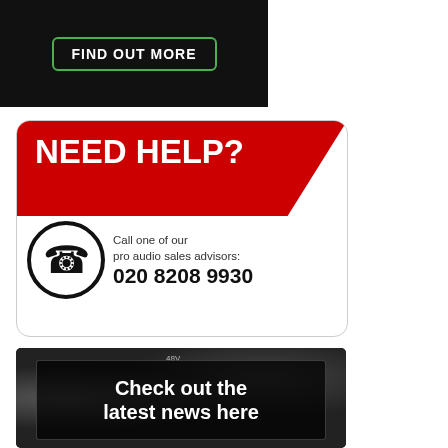[Figure (screenshot): Dark background banner with green-bordered 'FIND OUT MORE' button]
[Figure (infographic): Need Help? Call one of our pro audio sales advisors: 020 8208 9930 — white box with red diagonal header and phone icon]
[Figure (screenshot): Dark photo of audio equipment with text overlay: Check out the latest news here]